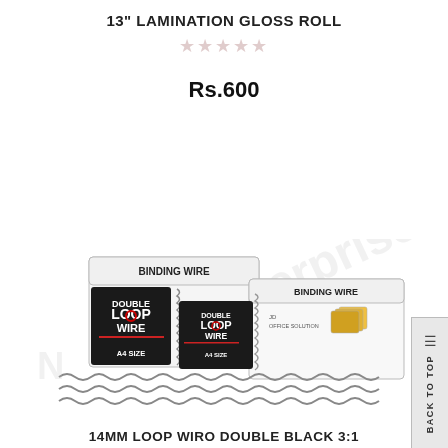13" LAMINATION GLOSS ROLL
★★★★★
Rs.600
[Figure (photo): Photo of Double Loop Wire binding wire boxes (A4 SIZE) in black and white packaging labeled BINDING WIRE with JD OFFICE SOLUTION branding, alongside coiled wire binding spines laid flat]
14MM LOOP WIRO DOUBLE BLACK 3:1